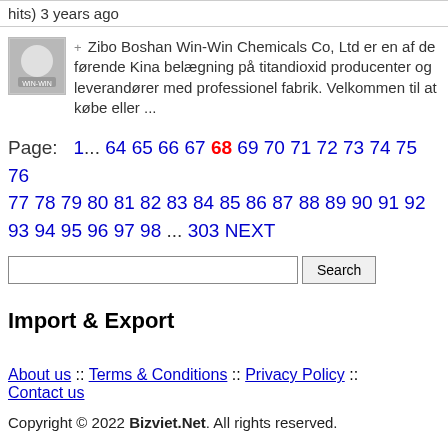hits) 3 years ago
+ Zibo Boshan Win-Win Chemicals Co, Ltd er en af de førende Kina belægning på titandioxid producenter og leverandører med professionel fabrik. Velkommen til at købe eller ...
Page: 1... 64 65 66 67 68 69 70 71 72 73 74 75 76 77 78 79 80 81 82 83 84 85 86 87 88 89 90 91 92 93 94 95 96 97 98 ... 303 NEXT
Search
Import & Export
About us :: Terms & Conditions :: Privacy Policy :: Contact us
Copyright © 2022 Bizviet.Net. All rights reserved.